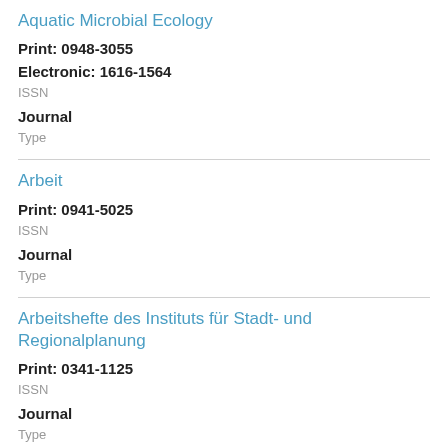Aquatic Microbial Ecology
Print: 0948-3055
Electronic: 1616-1564
ISSN
Journal
Type
Arbeit
Print: 0941-5025
ISSN
Journal
Type
Arbeitshefte des Instituts für Stadt- und Regionalplanung
Print: 0341-1125
ISSN
Journal
Type